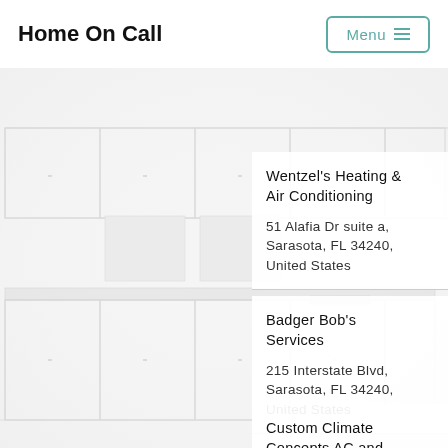Home On Call
[Figure (photo): Faint background photo of a kitchen interior, very light/washed out]
Wentzel's Heating & Air Conditioning

51 Alafia Dr suite a, Sarasota, FL 34240, United States
Badger Bob's Services

215 Interstate Blvd, Sarasota, FL 34240, United States
Custom Climate Concepts AC and Heating